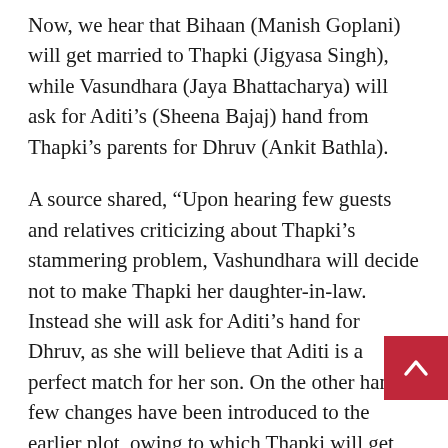Now, we hear that Bihaan (Manish Goplani) will get married to Thapki (Jigyasa Singh), while Vasundhara (Jaya Bhattacharya) will ask for Aditi's (Sheena Bajaj) hand from Thapki's parents for Dhruv (Ankit Bathla).
A source shared, “Upon hearing few guests and relatives criticizing about Thapki’s stammering problem, Vashundhara will decide not to make Thapki her daughter-in-law. Instead she will ask for Aditi’s hand for Dhruv, as she will believe that Aditi is a perfect match for her son. On the other hand, few changes have been introduced to the earlier plot, owing to which Thapki will get married to Bihaan, unknowingly. Bihaan, who had developed a soft corner for Thapki will happily swap his place with Dhruv and will marry Thapki.”